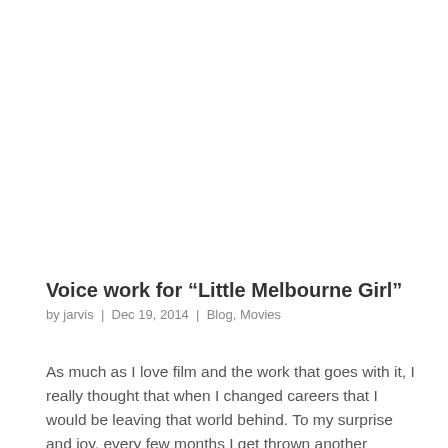Voice work for “Little Melbourne Girl”
by jarvis | Dec 19, 2014 | Blog, Movies
As much as I love film and the work that goes with it, I really thought that when I changed careers that I would be leaving that world behind. To my surprise and joy, every few months I get thrown another challenge that seems to be right out of my film...